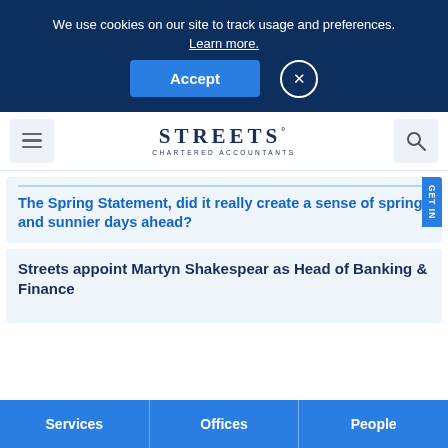We use cookies on our site to track usage and preferences. Learn more.
[Figure (screenshot): Cookie consent banner with Accept button and close (x) button on dark navy background]
[Figure (logo): Streets Chartered Accountants logo with hamburger menu icon on left and search icon on right]
The Spring Statement, did it really create a sense of spring and sunnier days ahead?
Streets appoint Martyn Shakespear as Head of Banking & Finance
Services | Offices | People